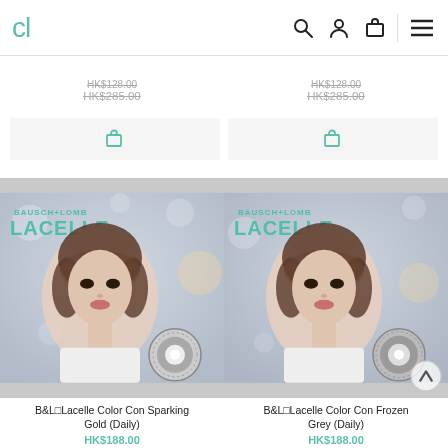CL [navigation header with search, account, cart, and menu icons]
HK$285.00 (strikethrough, left column)
HK$285.00 (strikethrough, right column)
[Figure (screenshot): Cart/add button left column]
[Figure (screenshot): Cart/add button right column]
[Figure (photo): B&L Lacelle Color Con Sparking Gold (Daily) - product image showing woman wearing colored contact lenses with Bausch+Lomb Lacelle branding and lens closeup]
[Figure (photo): B&L Lacelle Color Con Frozen Grey (Daily) - product image showing woman wearing colored contact lenses with Bausch+Lomb Lacelle branding and lens closeup]
B&L□Lacelle Color Con Sparking Gold (Daily)
B&L□Lacelle Color Con Frozen Grey (Daily)
HK$188.00
HK$188.00